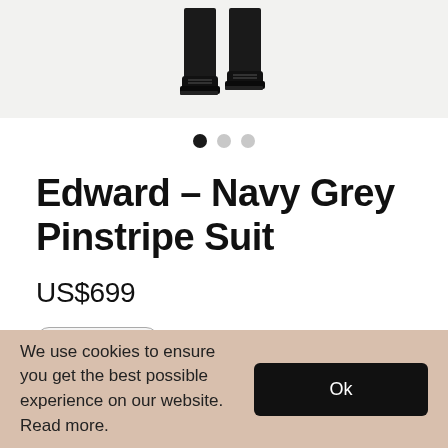[Figure (photo): Partial view of a man wearing dark suit trousers and black dress shoes, cropped to show only lower legs and feet against a light grey background]
Edward - Navy Grey Pinstripe Suit
US$699
TAILOR-MADE
We use cookies to ensure you get the best possible experience on our website. Read more.